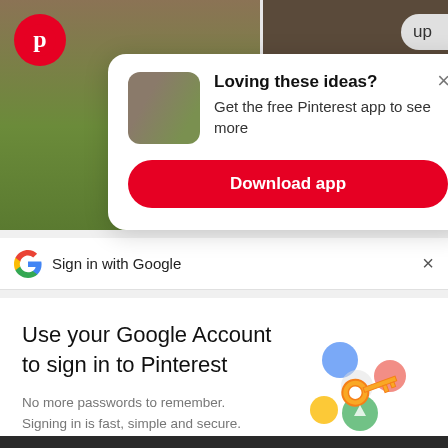[Figure (screenshot): Pinterest app background showing outdoor/garden images]
[Figure (logo): Pinterest red circle logo with P]
up
×
[Figure (screenshot): Pinterest app promotion popup card with thumbnail image]
Loving these ideas?
Get the free Pinterest app to see more
Download app
···
[Figure (logo): Google G logo]
Sign in with Google
×
Use your Google Account to sign in to Pinterest
No more passwords to remember. Signing in is fast, simple and secure.
[Figure (illustration): Google key illustration with colorful circles]
Continue